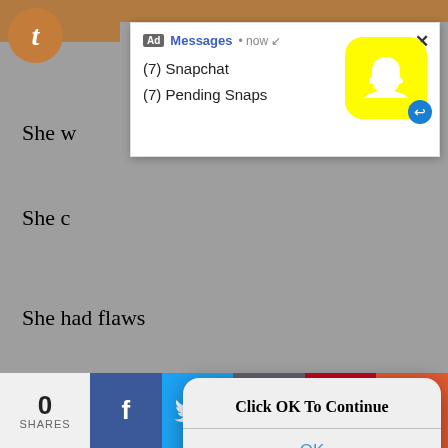[Figure (screenshot): Screenshot of a mobile/web page showing a poem about a girl with overlapping UI elements: a Snapchat ad notification popup at top, an iOS-style dialog box in the middle saying 'Click OK To Continue' with an OK button, and a social share bar at the bottom.]
She was tainted
She was
She c
She had flaws
She has feelings
She was broken
When she was down
She got back up
(7) Snapchat
(7) Pending Snaps
Click OK To Continue
OK
0
SHARES